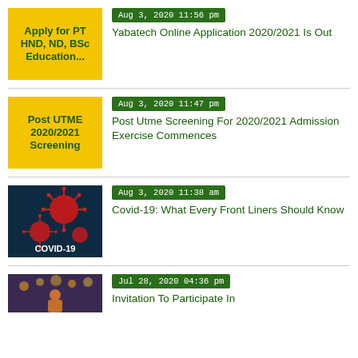[Figure (illustration): Yellow background thumbnail with bold green text: Apply for PT HND, ND, BSc Education...]
Aug 3, 2020 11:56 pm
Yabatech Online Application 2020/2021 Is Out
[Figure (illustration): Yellow background thumbnail with bold green text: Post UTME 2020/2021 Screening]
Aug 3, 2020 11:47 pm
Post Utme Screening For 2020/2021 Admission Exercise Commences
[Figure (photo): Dark blue background image with red coronavirus particles and COVID-19 text]
Aug 3, 2020 11:38 am
Covid-19: What Every Front Liners Should Know
[Figure (photo): Photo of a woman at an event]
Jul 28, 2020 04:36 pm
Invitation To Participate In